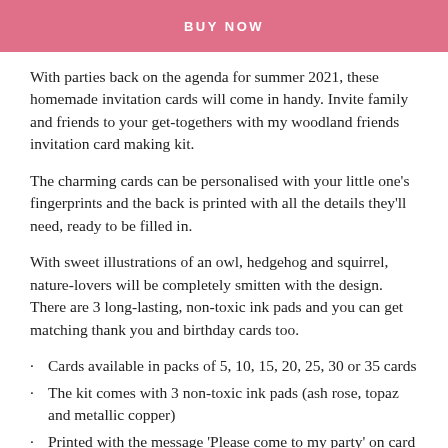BUY NOW
With parties back on the agenda for summer 2021, these homemade invitation cards will come in handy. Invite family and friends to your get-togethers with my woodland friends invitation card making kit.
The charming cards can be personalised with your little one's fingerprints and the back is printed with all the details they'll need, ready to be filled in.
With sweet illustrations of an owl, hedgehog and squirrel, nature-lovers will be completely smitten with the design. There are 3 long-lasting, non-toxic ink pads and you can get matching thank you and birthday cards too.
Cards available in packs of 5, 10, 15, 20, 25, 30 or 35 cards
The kit comes with 3 non-toxic ink pads (ash rose, topaz and metallic copper)
Printed with the message 'Please come to my party' on card front
Personalise each card with the party details on the back